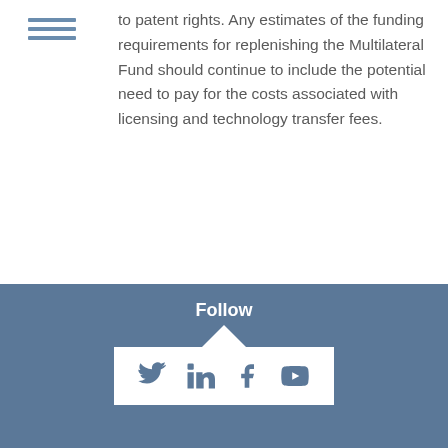to patent rights. Any estimates of the funding requirements for replenishing the Multilateral Fund should continue to include the potential need to pay for the costs associated with licensing and technology transfer fees.
DOWNLOAD PUBLICATION (PDF, 310 KB)
Follow
[Figure (other): Social media icons: Twitter, LinkedIn, Facebook, YouTube]